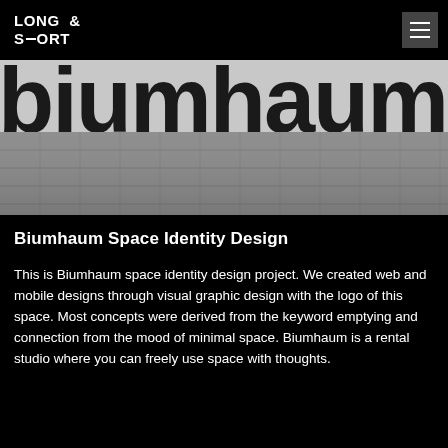LONG & SHORT
[Figure (photo): Close-up photograph of large bold black letters spelling 'biumhaum' on a light grey wall above a tiled grey pavement/floor surface, shot from street level.]
Biumhaum Space Identity Design
This is Biumhaum space identity design project. We created web and mobile designs through visual graphic design with the logo of this space. Most concepts were derived from the keyword emptying and connection from the mood of minimal space. Biumhaum is a rental studio where you can freely use space with thoughts.